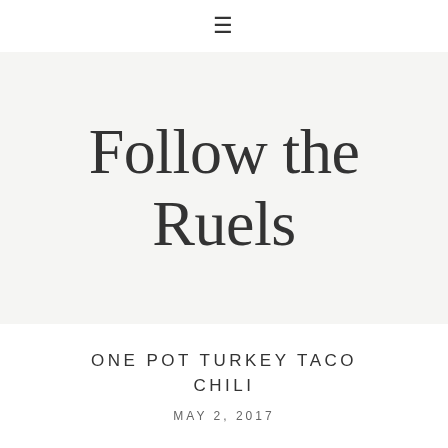≡
Follow the Ruels
ONE POT TURKEY TACO CHILI
MAY 2, 2017